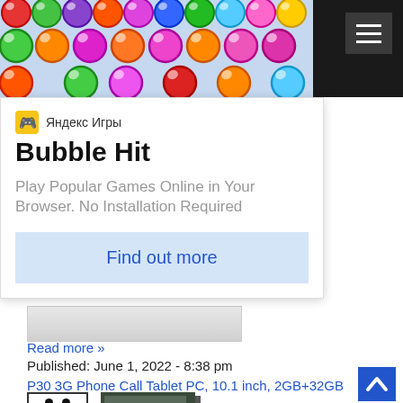[Figure (screenshot): Colorful bubble shooter game screenshot with red, green, orange, pink, magenta, blue and yellow glossy bubbles arranged in rows on a light blue background]
[Figure (other): Hamburger menu button (three white horizontal lines) on dark background, top right corner]
[Figure (other): Яндекс Игры logo icon - small colorful game controller icon]
Яндекс Игры
Bubble Hit
Play Popular Games Online in Your Browser. No Installation Required
Find out more
[Figure (photo): Partial product image placeholder - grey/white area visible]
Read more »
Published: June 1, 2022 - 8:38 pm
P30 3G Phone Call Tablet PC, 10.1 inch, 2GB+32GB
[Figure (photo): EU Plug adapter and tablet PC product image]
[Figure (other): Scroll to top arrow button - blue upward chevron]